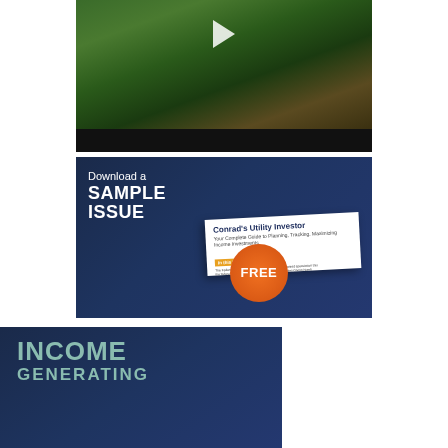[Figure (photo): Video thumbnail showing a person outdoors in a garden setting with a play button overlay and dark bottom bar]
[Figure (infographic): Dark blue banner with text 'Download a SAMPLE ISSUE' on the left, a newsletter card tilted to the right showing 'Conrad's Utility Investor', and an orange circular badge with 'FREE']
[Figure (infographic): Dark blue banner showing 'INCOME GENERATING' in large teal-colored uppercase text]